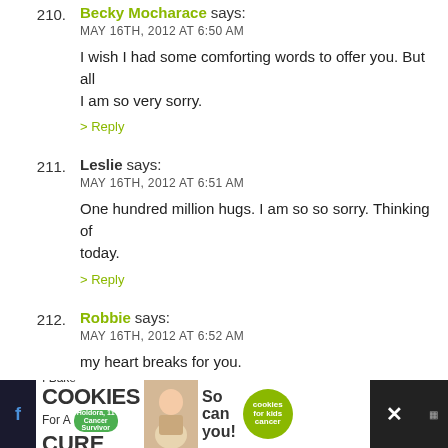210. Becky Mocharace says: MAY 16TH, 2012 AT 6:50 AM — I wish I had some comforting words to offer you. But all I am so very sorry. > Reply
211. Leslie says: MAY 16TH, 2012 AT 6:51 AM — One hundred million hugs. I am so so sorry. Thinking of today. > Reply
212. Robbie says: MAY 16TH, 2012 AT 6:52 AM — my heart breaks for you. > Reply
213. Chelse says:
[Figure (infographic): Advertisement banner: I Bake COOKIES For A CURE with a photo of a child and green cookie badge]